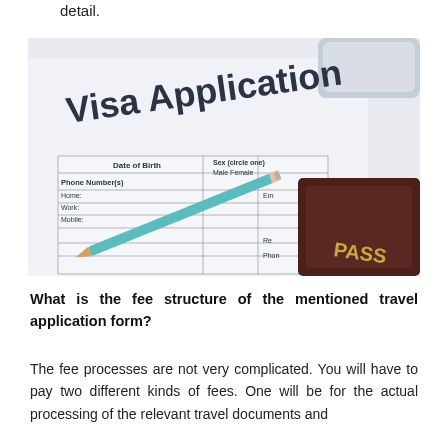detail.
[Figure (photo): A visa application form with fields for Date of Birth, Sex, Phone Number(s) including Home, Work, Mobile, and other fields. A teal pencil rests on the form and a dark brown passport is visible in the lower right corner.]
What is the fee structure of the mentioned travel application form?
The fee processes are not very complicated. You will have to pay two different kinds of fees. One will be for the actual processing of the relevant travel documents and